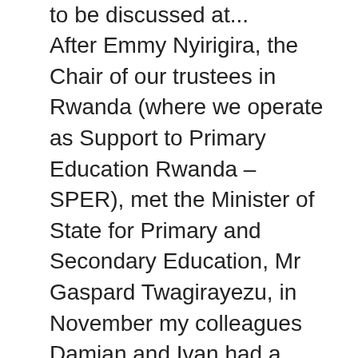to be discussed at...
After Emmy Nyirigira, the Chair of our trustees in Rwanda (where we operate as Support to Primary Education Rwanda – SPER), met the Minister of State for Primary and Secondary Education, Mr Gaspard Twagirayezu, in November my colleagues Damian and Ivan had a meeting with the Minister in December. In attendance were the Minister's adviser, and a representative from the Rwanda Education Board (REB). The meeting was summarized by the adviser in an email circulated to all who